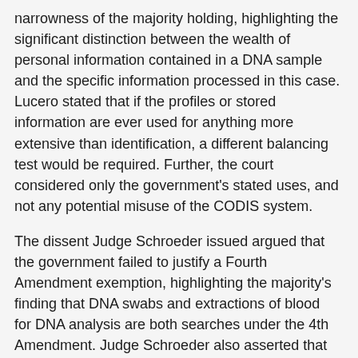narrowness of the majority holding, highlighting the significant distinction between the wealth of personal information contained in a DNA sample and the specific information processed in this case. Lucero stated that if the profiles or stored information are ever used for anything more extensive than identification, a different balancing test would be required. Further, the court considered only the government's stated uses, and not any potential misuse of the CODIS system.
The dissent Judge Schroeder issued argued that the government failed to justify a Fourth Amendment exemption, highlighting the majority's finding that DNA swabs and extractions of blood for DNA analysis are both searches under the 4th Amendment. Judge Schroeder also asserted that the majority opinion mischaracterized the court's opinions in US v. Kincade and US v. Kriesel, which both upheld the government's authority to compel DNA profiling for certain convicted felons. The majority cited the cases for the proposition that DNA testing anyone with limited Fourth Amendment rights is